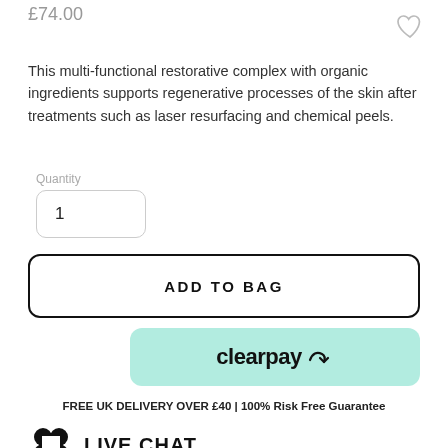£74.00
This multi-functional restorative complex with organic ingredients supports regenerative processes of the skin after treatments such as laser resurfacing and chemical peels.
Quantity
1
ADD TO BAG
[Figure (logo): Clearpay button with mint green background showing clearpay logo with arrow icon]
FREE UK DELIVERY OVER £40 | 100% Risk Free Guarantee
[Figure (logo): Live chat section with four-petal flower/clover icon and LIVE CHAT label]
Got a question? Need an answer? Chat with an expert aesthetician now